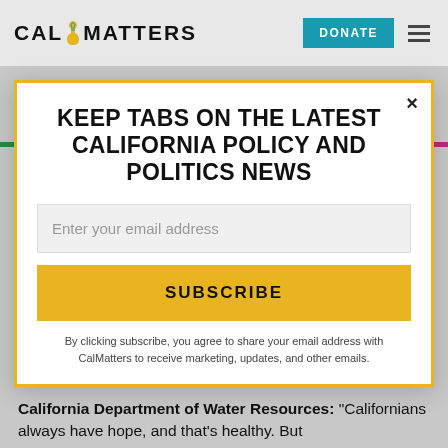[Figure (logo): CalMatters logo with California bear icon in yellow/blue]
DONATE
KEEP TABS ON THE LATEST CALIFORNIA POLICY AND POLITICS NEWS
Enter your email address
SUBSCRIBE
By clicking subscribe, you agree to share your email address with CalMatters to receive marketing, updates, and other emails.
California Department of Water Resources: “Californians always have hope, and that’s healthy. But